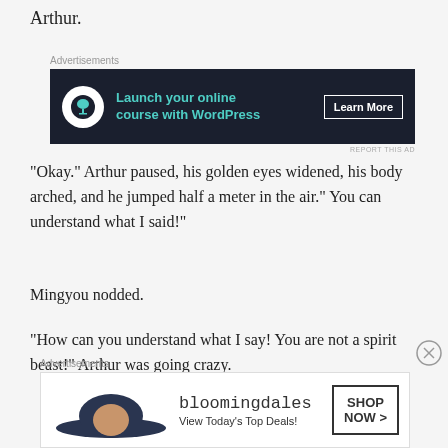Arthur.
[Figure (other): Advertisement banner: dark background, bonsai tree icon in white circle, teal text 'Launch your online course with WordPress', white 'Learn More' button]
“Okay.” Arthur paused, his golden eyes widened, his body arched, and he jumped half a meter in the air.” You can understand what I said!”
Mingyou nodded.
“How can you understand what I say! You are not a spirit beast!” Arthur was going crazy.
[Figure (other): Advertisement banner: Bloomingdale's ad with woman in wide-brim hat, text 'View Today’s Top Deals!', 'SHOP NOW >' button]